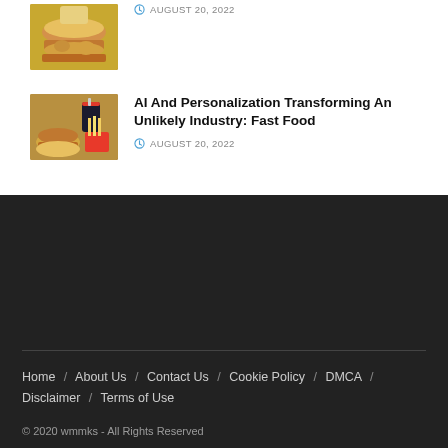[Figure (photo): Partial view of hamburgers/fast food items at top]
AUGUST 20, 2022
[Figure (photo): Fast food items including burgers, fries, and a cola drink]
AI And Personalization Transforming An Unlikely Industry: Fast Food
AUGUST 20, 2022
Home / About Us / Contact Us / Cookie Policy / DMCA / Disclaimer / Terms of Use
© 2020 wmmks - All Rights Reserved